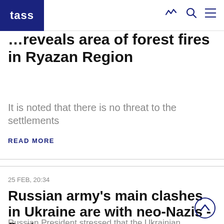TASS
…reveals area of forest fires in Ryazan Region
It is noted that there is no threat to the settlements
READ MORE
25 FEB, 20:34
Russian army's main clashes in Ukraine are with neo-Nazis - Putin
Russian President stressed that the Ukrainian nationalists were playing the role of the army's 'blocking detachments'